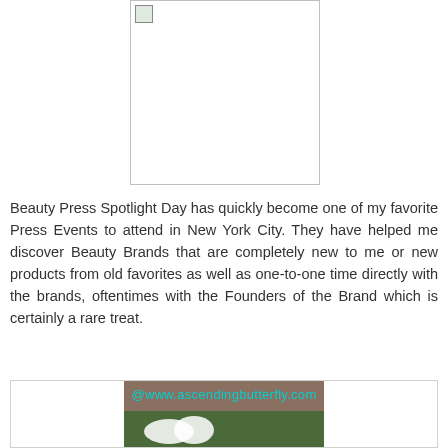[Figure (photo): A blank/broken image placeholder with a small image icon in the top-left corner, bordered box]
Beauty Press Spotlight Day has quickly become one of my favorite Press Events to attend in New York City. They have helped me discover Beauty Brands that are completely new to me or new products from old favorites as well as one-to-one time directly with the brands, oftentimes with the Founders of the Brand which is certainly a rare treat.
[Figure (photo): A photo showing flowers (white blooms with green leaves) on what appears to be a wooden surface, with a cyan watermark reading @www.ascendingbutterfly.com]